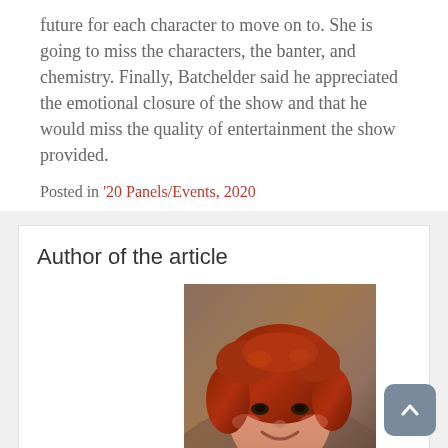future for each character to move on to. She is going to miss the characters, the banter, and chemistry. Finally, Batchelder said he appreciated the emotional closure of the show and that he would miss the quality of entertainment the show provided.
Posted in '20 Panels/Events, 2020
Author of the article
[Figure (photo): Headshot of Colleen Callahan, a woman with curly red hair, smiling, wearing a dark top, photographed outdoors.]
Colleen Callahan
Colleen Callahan is a freelance content writer and social media consultant specializing in food and beverage, writing blog posts, newsletters, and managing social